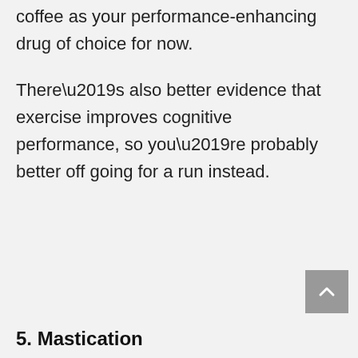coffee as your performance-enhancing drug of choice for now.
There’s also better evidence that exercise improves cognitive performance, so you’re probably better off going for a run instead.
5. Mastication